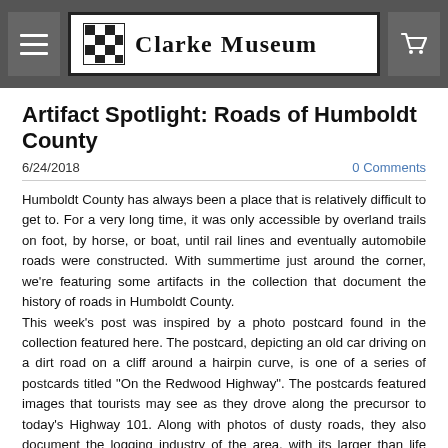Clarke Museum
Artifact Spotlight: Roads of Humboldt County
6/24/2018
0 Comments
Humboldt County has always been a place that is relatively difficult to get to. For a very long time, it was only accessible by overland trails on foot, by horse, or boat, until rail lines and eventually automobile roads were constructed. With summertime just around the corner, we're featuring some artifacts in the collection that document the history of roads in Humboldt County.
This week's post was inspired by a photo postcard found in the collection featured here. The postcard, depicting an old car driving on a dirt road on a cliff around a hairpin curve, is one of a series of postcards titled "On the Redwood Highway". The postcards featured images that tourists may see as they drove along the precursor to today's Highway 101. Along with photos of dusty roads, they also document the logging industry of the area, with its larger than life tools